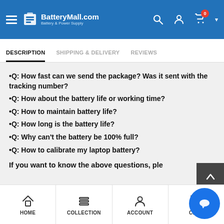BatteryMall.com Battery & Power Supply
DESCRIPTION | SHIPPING & DELIVERY | REVIEWS
•Q: How fast can we send the package? Was it sent with the tracking number?
•Q: How about the battery life or working time?
•Q: How to maintain battery life?
•Q: How long is the battery life?
•Q: Why can't the battery be 100% full?
•Q: How to calibrate my laptop battery?
If you want to know the above questions, ple...
HOME | COLLECTION | ACCOUNT | CART